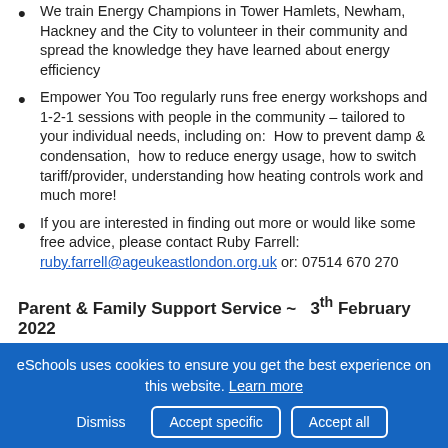We train Energy Champions in Tower Hamlets, Newham, Hackney and the City to volunteer in their community and spread the knowledge they have learned about energy efficiency
Empower You Too regularly runs free energy workshops and 1-2-1 sessions with people in the community – tailored to your individual needs, including on:  How to prevent damp & condensation,  how to reduce energy usage, how to switch tariff/provider, understanding how heating controls work and much more!
If you are interested in finding out more or would like some free advice, please contact Ruby Farrell: ruby.farrell@ageukeastlondon.org.uk or: 07514 670 270
Parent & Family Support Service ~   3th February 2022
eSchools uses cookies to ensure you get the best experience on this website. Learn more